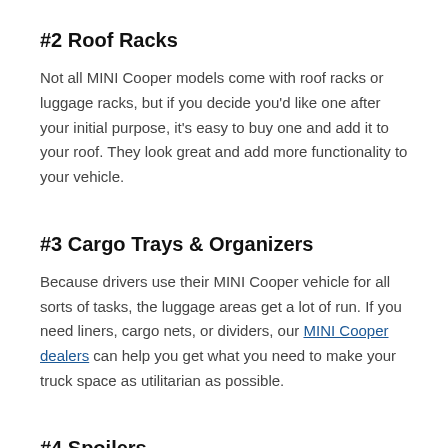#2 Roof Racks
Not all MINI Cooper models come with roof racks or luggage racks, but if you decide you'd like one after your initial purpose, it's easy to buy one and add it to your roof. They look great and add more functionality to your vehicle.
#3 Cargo Trays & Organizers
Because drivers use their MINI Cooper vehicle for all sorts of tasks, the luggage areas get a lot of run. If you need liners, cargo nets, or dividers, our MINI Cooper dealers can help you get what you need to make your truck space as utilitarian as possible.
#4 Spoilers
MINI models sure do look good with a spoiler, and there are plenty from which to choose among the MINI Genuine Parts